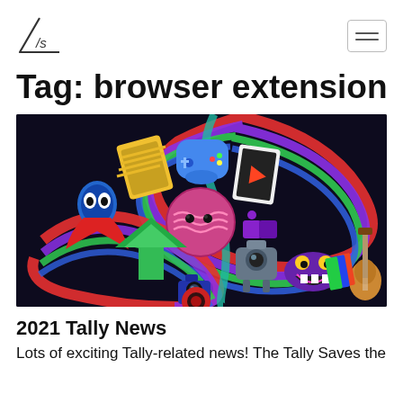Tag: browser extension
[Figure (illustration): Colorful animated illustration on dark background featuring cartoon characters, swirling rainbow ribbons, a pink donut-like character with eyes, a camera, musical instruments, puzzle pieces, and various whimsical objects]
2021 Tally News
Lots of exciting Tally-related news! The Tally Saves the